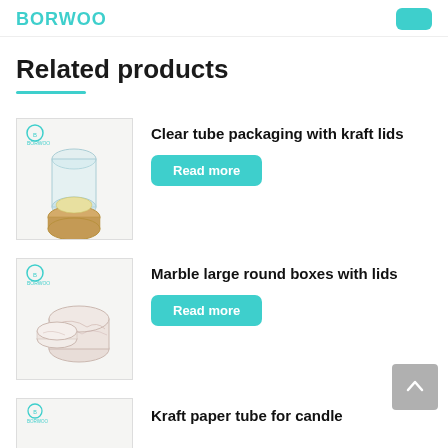BORWOO
Related products
[Figure (photo): Clear tube packaging with kraft lids product photo showing a glass tube container with golden/kraft colored round lid]
Clear tube packaging with kraft lids
Read more
[Figure (photo): Marble large round boxes with lids product photo showing round marble-patterned boxes with lids]
Marble large round boxes with lids
Read more
[Figure (photo): Kraft paper tube for candle product photo (partially visible)]
Kraft paper tube for candle